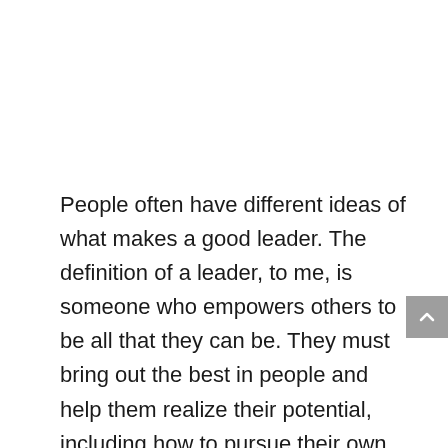People often have different ideas of what makes a good leader. The definition of a leader, to me, is someone who empowers others to be all that they can be. They must bring out the best in people and help them realize their potential, including how to pursue their own ideas for solving problems. It is crucial as a leader to empower your